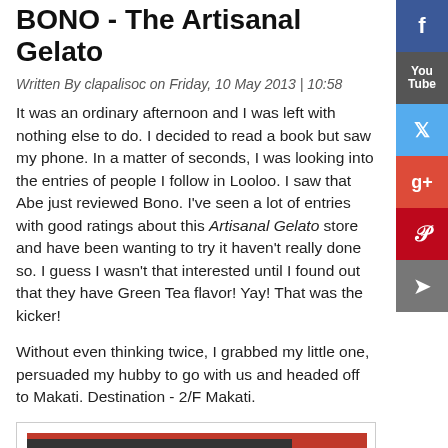BONO - The Artisanal Gelato
Written By clapalisoc on Friday, 10 May 2013 | 10:58
It was an ordinary afternoon and I was left with nothing else to do. I decided to read a book but saw my phone. In a matter of seconds, I was looking into the entries of people I follow in Looloo. I saw that Abe just reviewed Bono. I've seen a lot of entries with good ratings about this Artisanal Gelato store and have been wanting to try it haven't really done so. I guess I wasn't that interested until I found out that they have Green Tea flavor! Yay! That was the kicker!
Without even thinking twice, I grabbed my little one, persuaded my hubby to go with us and headed off to Makati. Destination - 2/F Makati.
[Figure (photo): Interior photo of BONO gelato store showing the counter, staff, colorful balloons/circles, menu boards, and red branding elements with GELATO CAFFE signage.]